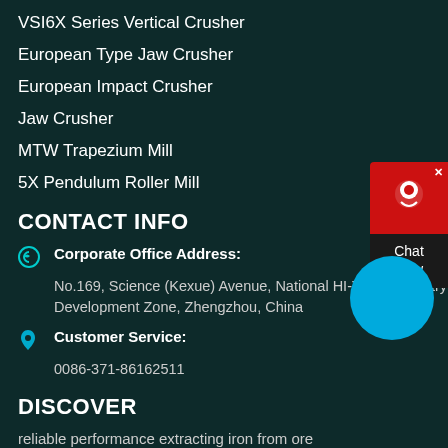VSI6X Series Vertical Crusher
European Type Jaw Crusher
European Impact Crusher
Jaw Crusher
MTW Trapezium Mill
5X Pendulum Roller Mill
CONTACT INFO
Corporate Office Address:
No.169, Science (Kexue) Avenue, National HI-TECH Industry Development Zone, Zhengzhou, China
Customer Service:
0086-371-86162511
DISCOVER
reliable performance extracting iron from ore
diatomite mobile stone crusher for sale